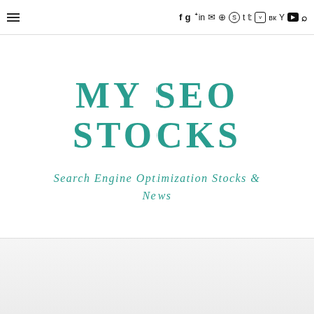≡  f  g+  in  ✉  ⓟ  ⓢ  t  ☊  ⓥ  вк  Y  ▶  🔍
MY SEO STOCKS
Search Engine Optimization Stocks & News